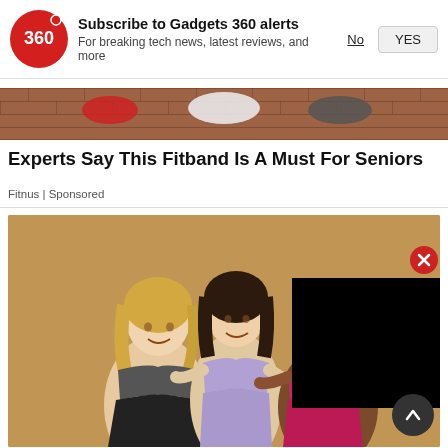[Figure (screenshot): Gadgets 360 notification subscription prompt with red circular logo showing '360', bold text 'Subscribe to Gadgets 360 alerts', subtitle 'For breaking tech news, latest reviews, and more', and two buttons: underlined 'No' and boxed 'YES']
[Figure (photo): Partial view of brick wall with fitness accessories hanging]
Experts Say This Fitband Is A Must For Seniors
Fitnus | Sponsored
[Figure (photo): Three women in athletic wear (sports bras and leggings) posing together against a tan/golden background. A black video player overlay appears in the top-right corner with a red close (X) button. A dark scroll-up arrow button appears in the bottom-right.]